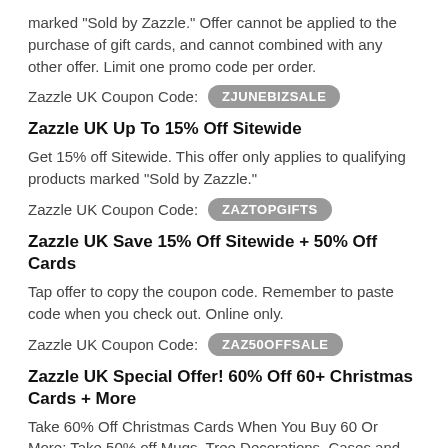marked "Sold by Zazzle." Offer cannot be applied to the purchase of gift cards, and cannot combined with any other offer. Limit one promo code per order.
Zazzle UK Coupon Code: ZJUNEBIZSALE
Zazzle UK Up To 15% Off Sitewide
Get 15% off Sitewide. This offer only applies to qualifying products marked "Sold by Zazzle."
Zazzle UK Coupon Code: ZAZTOPGIFTS
Zazzle UK Save 15% Off Sitewide + 50% Off Cards
Tap offer to copy the coupon code. Remember to paste code when you check out. Online only.
Zazzle UK Coupon Code: ZAZ50OFFSALE
Zazzle UK Special Offer! 60% Off 60+ Christmas Cards + More
Take 60% Off Christmas Cards When You Buy 60 Or More; Take 50% off Mugs, Tree Decorations, Cases and more; take 40% Off iPhone Cases, Playing Cards, Key Rings & More; or take 20% off